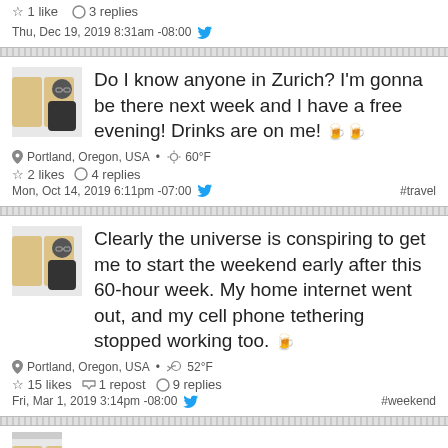☆ 1 like   ○ 3 replies
Thu, Dec 19, 2019 8:31am -08:00  🐦
Do I know anyone in Zurich? I'm gonna be there next week and I have a free evening! Drinks are on me! 🍺🍺
📍 Portland, Oregon, USA • ☀ 60°F
☆ 2 likes   ○ 4 replies
Mon, Oct 14, 2019 6:11pm -07:00  🐦  #travel
Clearly the universe is conspiring to get me to start the weekend early after this 60-hour week. My home internet went out, and my cell phone tethering stopped working too. 🍺
📍 Portland, Oregon, USA • ⛅ 52°F
☆ 15 likes   🔁 1 repost   ○ 9 replies
Fri, Mar 1, 2019 3:14pm -08:00  🐦  #weekend